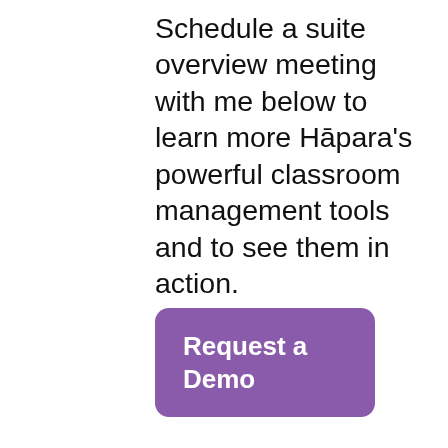Schedule a suite overview meeting with me below to learn more Hāpara's powerful classroom management tools and to see them in action.
Request a Demo